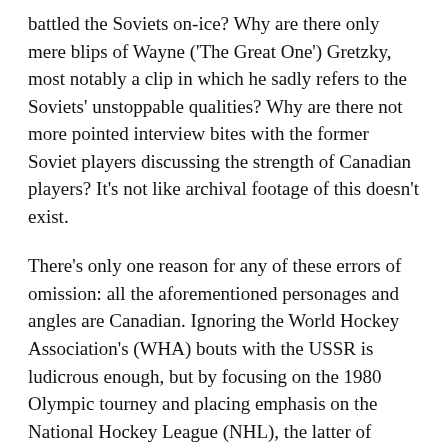battled the Soviets on-ice? Why are there only mere blips of Wayne ('The Great One') Gretzky, most notably a clip in which he sadly refers to the Soviets' unstoppable qualities? Why are there not more pointed interview bites with the former Soviet players discussing the strength of Canadian players? It's not like archival footage of this doesn't exist.
There's only one reason for any of these errors of omission: all the aforementioned personages and angles are Canadian. Ignoring the World Hockey Association's (WHA) bouts with the USSR is ludicrous enough, but by focusing on the 1980 Olympic tourney and placing emphasis on the National Hockey League (NHL), the latter of which is optically seen as a solely AMERICAN interest, Red Army is clearly not the definitive documentary about the Soviet players that its director and, most probably American fans and pundits, assume it is.
Even if one were to argue that the story Polsky was interested